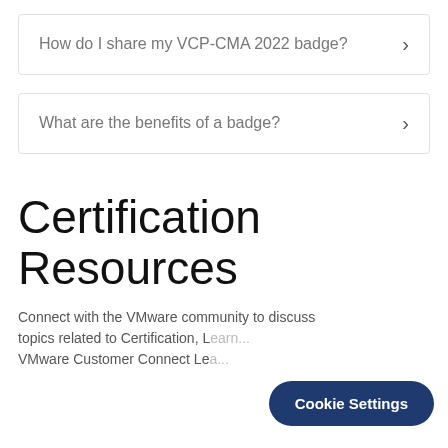How do I share my VCP-CMA 2022 badge?
What are the benefits of a badge?
Certification Resources
Connect with the VMware community to discuss topics related to Certification, L... VMware Customer Connect Lea...